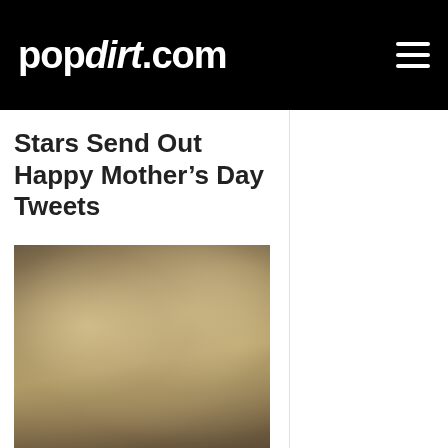popdirt.com
Stars Send Out Happy Mother’s Day Tweets
[Figure (photo): Two young blonde women sitting close together, photographed indoors against a dark background]